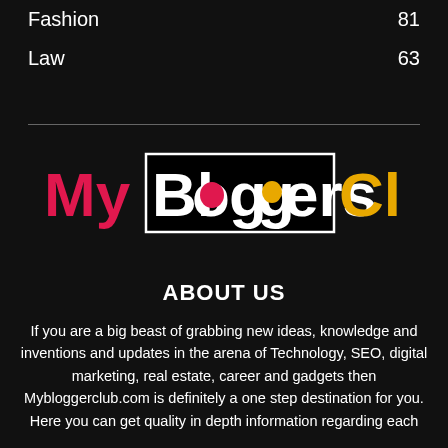Fashion  81
Law  63
[Figure (logo): MyBloggers Club logo — 'My' in pink/red, 'Bloggers' in white on black rectangle with two colored circles in the Os, 'Club' in yellow/gold]
ABOUT US
If you are a big beast of grabbing new ideas, knowledge and inventions and updates in the arena of Technology, SEO, digital marketing, real estate, career and gadgets then Mybloggerclub.com is definitely a one step destination for you. Here you can get quality in depth information regarding each